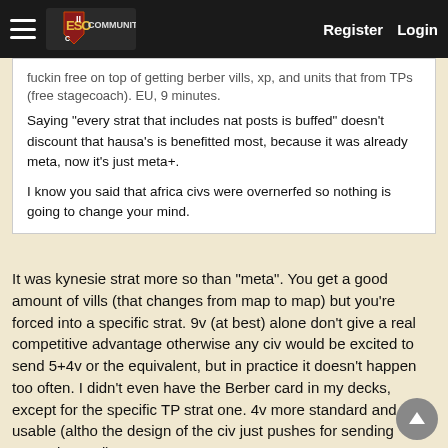ESOC Community — Register | Login
fuckin free on top of getting berber vills, xp, and units that from TPs (free stagecoach). EU, 9 minutes.

Saying "every strat that includes nat posts is buffed" doesn't discount that hausa's is benefitted most, because it was already meta, now it's just meta+.

I know you said that africa civs were overnerfed so nothing is going to change your mind.
It was kynesie strat more so than "meta". You get a good amount of vills (that changes from map to map) but you're forced into a specific strat. 9v (at best) alone don't give a real competitive advantage otherwise any civ would be excited to send 5+4v or the equivalent, but in practice it doesn't happen too often. I didn't even have the Berber card in my decks, except for the specific TP strat one. 4v more standard and more usable (altho the design of the civ just pushes for sending crates instead).
As for the "2nd hero card" it was a way for Hausa to have synergy with a card that has potentially other benefits later in the game. Now you can send the 3v card instead but you lose the